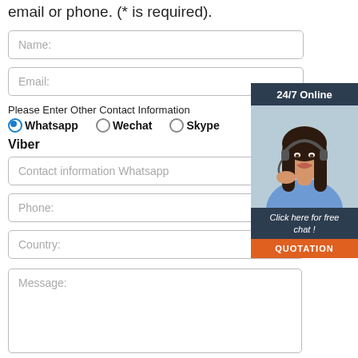email or phone. (* is required).
Name:
Email:
Please Enter Other Contact Information
Whatsapp  Wechat  Skype
Viber
Contact information Whatsapp
Phone:
Country:
[Figure (photo): Chat widget showing a woman with headset, '24/7 Online' header, 'Click here for free chat!' text, and orange QUOTATION button]
Message: